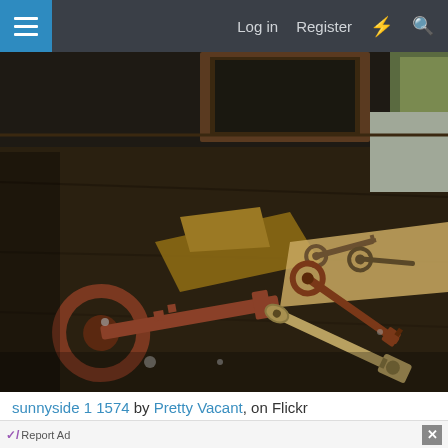Log in  Register
[Figure (photo): Photograph of old rusty keys scattered on a dark wooden surface, with a cardboard piece and paper bag. An ornate large skeleton key and modern keys are visible. Background shows a wooden cabinet and mossy doorway.]
sunnyside 1 1574 by Pretty Vacant, on Flickr
Report Ad
[Figure (screenshot): Advertisement banner for Dealslogy.com showing 'Search & Save Up to 90%' with an OPEN button]